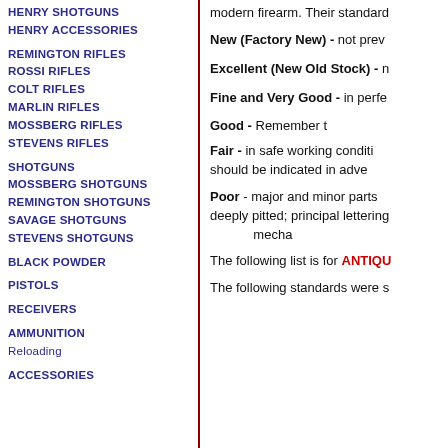HENRY SHOTGUNS
HENRY ACCESSORIES
REMINGTON RIFLES
ROSSI RIFLES
COLT RIFLES
MARLIN RIFLES
MOSSBERG RIFLES
STEVENS RIFLES
SHOTGUNS
MOSSBERG SHOTGUNS
REMINGTON SHOTGUNS
SAVAGE SHOTGUNS
STEVENS SHOTGUNS
BLACK POWDER
PISTOLS
RECEIVERS
AMMUNITION
Reloading
ACCESSORIES
modern firearm. Their standard
New (Factory New) - not prev
Excellent (New Old Stock) - n
Fine and Very Good - in perfe
Good - Remember t
Fair - in safe working conditi should be indicated in adve
Poor - major and minor parts deeply pitted; principal lettering mecha
The following list is for ANTIQUE
The following standards were s